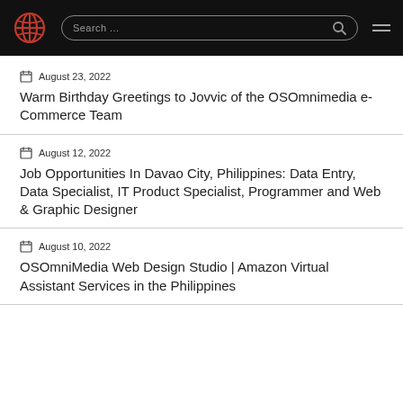OSOmnimedia – Search bar and navigation
August 23, 2022
Warm Birthday Greetings to Jovvic of the OSOmnimedia e-Commerce Team
August 12, 2022
Job Opportunities In Davao City, Philippines: Data Entry, Data Specialist, IT Product Specialist, Programmer and Web & Graphic Designer
August 10, 2022
OSOmniMedia Web Design Studio | Amazon Virtual Assistant Services in the Philippines